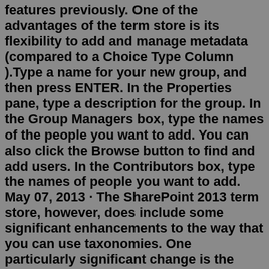features previously. One of the advantages of the term store is its flexibility to add and manage metadata (compared to a Choice Type Column ).Type a name for your new group, and then press ENTER. In the Properties pane, type a description for the group. In the Group Managers box, type the names of the people you want to add. You can also click the Browse button to find and add users. In the Contributors box, type the names of people you want to add. May 07, 2013 · The SharePoint 2013 term store, however, does include some significant enhancements to the way that you can use taxonomies. One particularly significant change is the SharePoint 2013 term store allows you to create a term set that can be used to as the navigation structure of your SharePoint site. What this means is that you can create a site ... Jan 03, 2021 · How to create Term Sets & Terms in SharePoint Online. Same as for the Content-Types, go to the SharePoint Admin Center, expand Content services and click on Term store. To start creating Term Sets and Terms, you will need to add yourself as